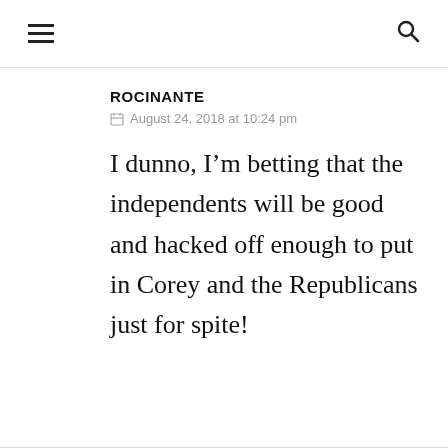[hamburger menu icon] [search icon]
ROCINANTE
August 24, 2018 at 10:24 pm
I dunno, I'm betting that the independents will be good and hacked off enough to put in Corey and the Republicans just for spite!